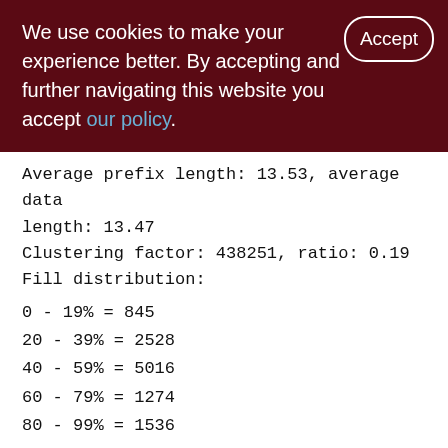We use cookies to make your experience better. By accepting and further navigating this website you accept our policy.
Average prefix length: 13.53, average data length: 13.47
Clustering factor: 438251, ratio: 0.19
Fill distribution:
0 - 19% = 845
20 - 39% = 2528
40 - 59% = 5016
60 - 79% = 1274
80 - 99% = 1536

Index DOC_DATA_ID_DESC (2)
Root page: 46473, depth: 3, leaf buckets: